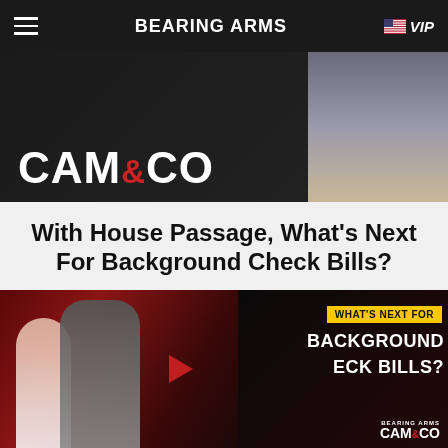BEARING ARMS  VIP
[Figure (screenshot): CAM & CO banner with show logo on dark background and host visible on right side]
With House Passage, What's Next For Background Check Bills?
[Figure (screenshot): Video thumbnail showing politicians at a press conference with text overlay: WHAT'S NEXT FOR BACKGROUND ECK BILLS? with play button, Bearing Arms Cam & Co watermark]